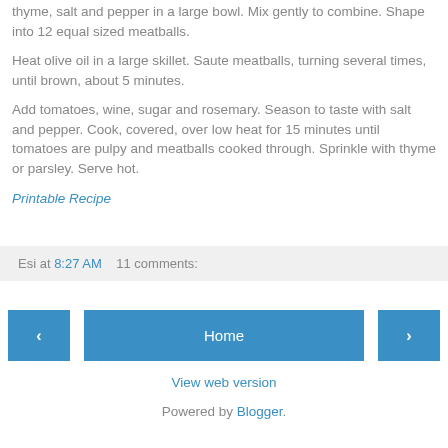thyme, salt and pepper in a large bowl. Mix gently to combine. Shape into 12 equal sized meatballs.
Heat olive oil in a large skillet. Saute meatballs, turning several times, until brown, about 5 minutes.
Add tomatoes, wine, sugar and rosemary. Season to taste with salt and pepper. Cook, covered, over low heat for 15 minutes until tomatoes are pulpy and meatballs cooked through. Sprinkle with thyme or parsley. Serve hot.
Printable Recipe
Esi at 8:27 AM    11 comments:
‹    Home    ›
View web version
Powered by Blogger.